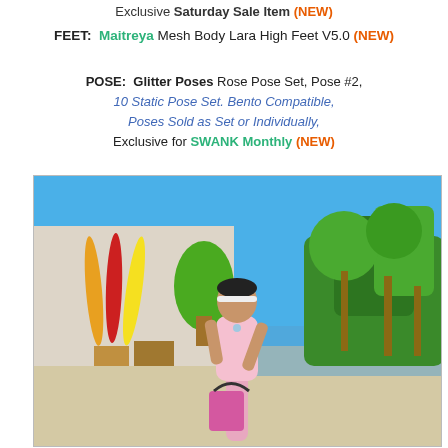Exclusive Saturday Sale Item (NEW)
FEET: Maitreya Mesh Body Lara High Feet V5.0 (NEW)
POSE: Glitter Poses Rose Pose Set, Pose #2, 10 Static Pose Set. Bento Compatible, Poses Sold as Set or Individually, Exclusive for SWANK Monthly (NEW)
[Figure (photo): Virtual world avatar of a woman in pink bikini top and pink pants, holding a pink tote bag, posed on a beach scene with surfboards, tropical trees, and a shop building in the background.]